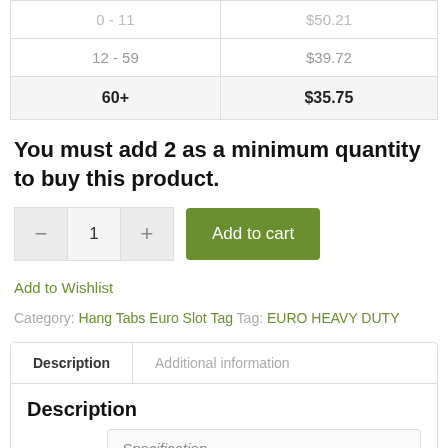| Quantity | Price |
| --- | --- |
| 12 - 59 | $39.72 |
| 60+ | $35.75 |
You must add 2 as a minimum quantity to buy this product.
Add to cart
Add to Wishlist
Category: Hang Tabs Euro Slot Tag: EURO HEAVY DUTY
Description | Additional information
Description
Specification